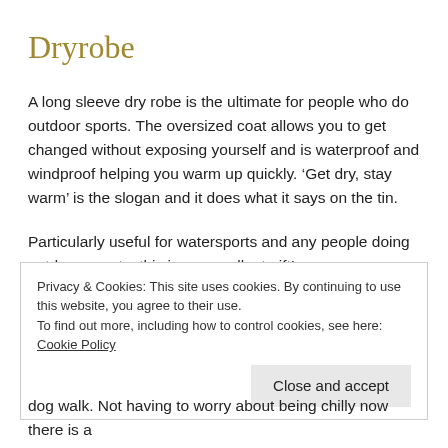Dryrobe
A long sleeve dry robe is the ultimate for people who do outdoor sports. The oversized coat allows you to get changed without exposing yourself and is waterproof and windproof helping you warm up quickly. ‘Get dry, stay warm’ is the slogan and it does what it says on the tin.
Particularly useful for watersports and any people doing outdoor events, this is an excellent gift!
I have used my dryrobe a ridiculous amount since investing it
Privacy & Cookies: This site uses cookies. By continuing to use this website, you agree to their use.
To find out more, including how to control cookies, see here: Cookie Policy
Close and accept
dog walk. Not having to worry about being chilly now there is a